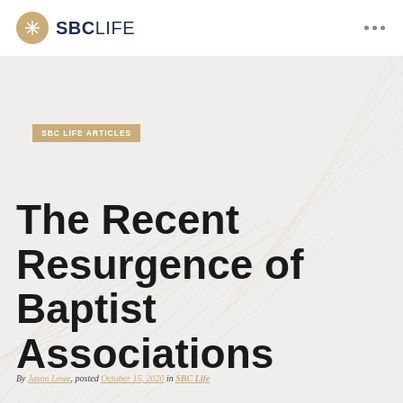SBC LIFE
SBC LIFE ARTICLES
The Recent Resurgence of Baptist Associations
By Jason Lowe, posted October 15, 2020 in SBC Life